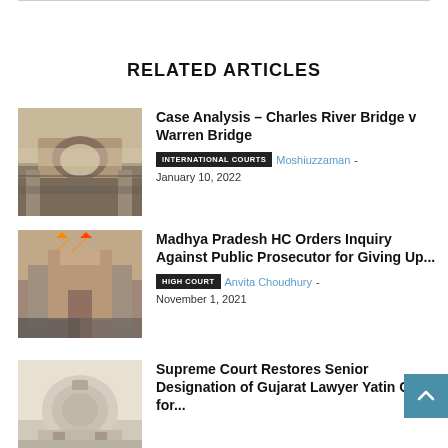RELATED ARTICLES
[Figure (photo): Black and white historical photo of Charles River Bridge / Warren Bridge, with arch and traffic]
Case Analysis – Charles River Bridge v Warren Bridge
INTERNATIONAL COURTS   Moshiuzzaman - January 10, 2022
[Figure (photo): Photo of Madhya Pradesh High Court building with Indian flags]
Madhya Pradesh HC Orders Inquiry Against Public Prosecutor for Giving Up...
HIGH COURT   Anvita Choudhury - November 1, 2021
[Figure (photo): Photo of the Supreme Court of India dome building]
Supreme Court Restores Senior Designation of Gujarat Lawyer Yatin Oza for...